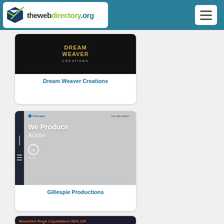thewebdirectory.org
[Figure (screenshot): Dream Weaver Creations website thumbnail showing logo on dark background]
Dream Weaver Creations
[Figure (screenshot): Gillespie Productions website thumbnail showing 'We Produce Action' hero section]
Gillespie Productions
[Figure (screenshot): Beautiful Rugs Liquidation website thumbnail with red text on dark background]